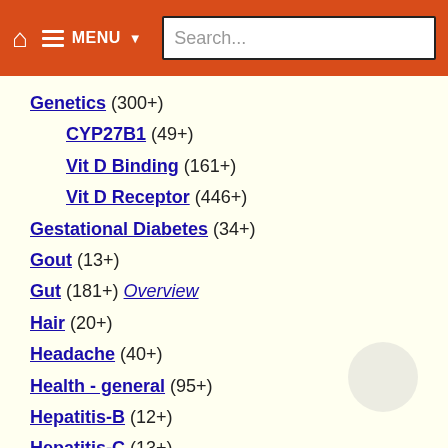MENU Search...
Genetics (300+)
CYP27B1 (49+)
Vit D Binding (161+)
Vit D Receptor (446+)
Gestational Diabetes (34+)
Gout (13+)
Gut (181+) Overview
Hair (20+)
Headache (40+)
Health - general (95+)
Hepatitis-B (12+)
Hepatitis-C (13+)
Human Immunodeficiency Virus (46+) Overview